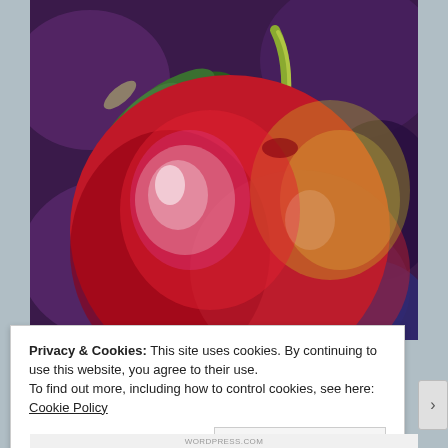[Figure (illustration): Pastel painting of a large red apple with green leaf and stem against a purple/dark background. The apple is rendered with expressive strokes showing highlights of white, yellow-green, and deep red tones.]
Privacy & Cookies: This site uses cookies. By continuing to use this website, you agree to their use.
To find out more, including how to control cookies, see here: Cookie Policy
Close and accept